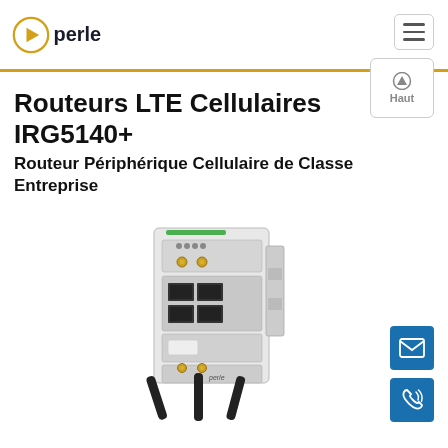perle
Routeurs LTE Cellulaires IRG5140+
Routeur Périphérique Cellulaire de Classe Entreprise
[Figure (photo): Perle IRG5140+ cellular LTE router product photo showing a white DIN-rail mountable device with multiple Ethernet ports, antenna connectors, and three black external antennas]